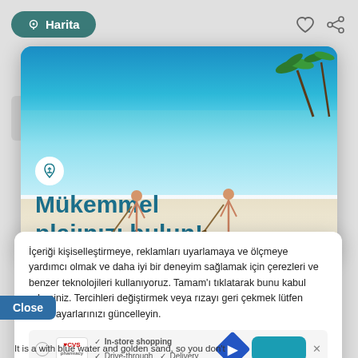[Figure (screenshot): Mobile app screenshot showing a beach travel app with a map button (Harita), share and like icons at top. A modal card shows a beach photo with turquoise water, white sand, palm trees, and two paddleboarders. Overlay text reads 'Mükemmel plajınızı bulun!' in teal. Below is a cookie consent panel in Turkish. An ad banner for CVS Pharmacy with In-store shopping, Drive-through, and Delivery checkmarks is also visible. A 'Close' button appears on the left.]
Harita
Mükemmel plajınızı bulun!
İçeriği kişiselleştirmeye, reklamları uyarlamaya ve ölçmeye yardımcı olmak ve daha iyi bir deneyim sağlamak için çerezleri ve benzer teknolojileri kullanıyoruz. Tamam'ı tıklatarak bunu kabul edersiniz. Tercihleri değiştirmek veya rızayı geri çekmek lütfen cerez ayarlarınızı güncelleyin.
Close
✓ In-store shopping
✓ Drive-through  ✓ Delivery
It is a with blue water and golden sand, so you don't